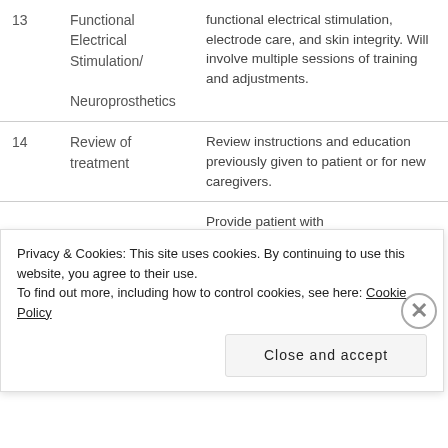| # | Term | Description |
| --- | --- | --- |
| 13 | Functional Electrical Stimulation/ Neuroprosthetics | functional electrical stimulation, electrode care, and skin integrity. Will involve multiple sessions of training and adjustments. |
| 14 | Review of treatment | Review instructions and education previously given to patient or for new caregivers. |
|  |  | Provide patient with |
Privacy & Cookies: This site uses cookies. By continuing to use this website, you agree to their use.
To find out more, including how to control cookies, see here: Cookie Policy